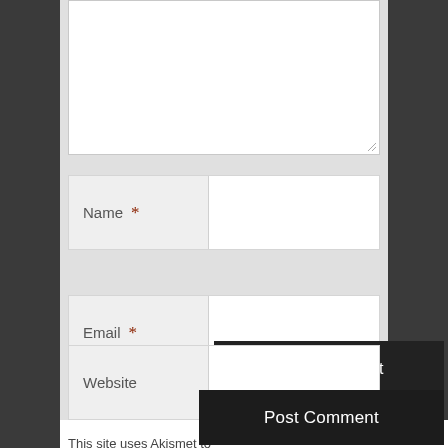[Figure (screenshot): Web comment form with textarea (partially visible at top), Name field with red asterisk required marker, Email field with red asterisk required marker, Website field, and a dark Post Comment button. Gray background form area on white page background with dark side margins.]
This site uses Akismet to